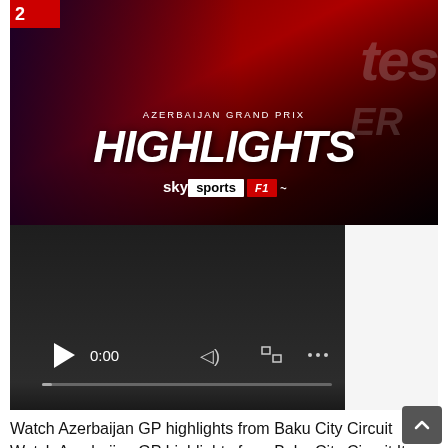[Figure (photo): Azerbaijan Grand Prix Highlights thumbnail with Sky Sports F1 branding. Two Formula 1 drivers in Red Bull Racing gear celebrating on a podium with a red background. Text overlay reads 'AZERBAIJAN GRAND PRIX HIGHLIGHTS' with Sky Sports F1 logo.]
[Figure (screenshot): Video player in paused state showing 0:00 timestamp with play button, volume, fullscreen, and more options controls on a dark background.]
Watch Azerbaijan GP highlights from Baku City Circuit Watch Azerbaijan GP highlights from Baku City Circuit It was reported over the weekend that teams voted against a proposal to reduce porpoising before the start of the season – and Brundle sees little chance of teams changing the rules now.